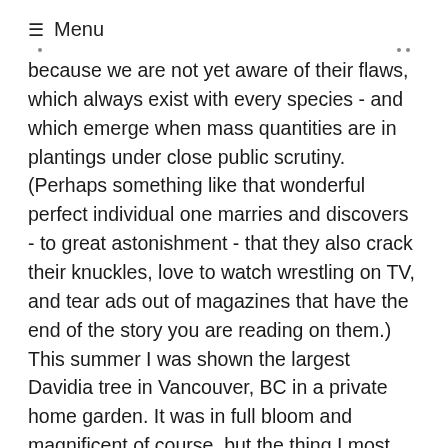≡ Menu
because we are not yet aware of their flaws, which always exist with every species - and which emerge when mass quantities are in plantings under close public scrutiny. (Perhaps something like that wonderful perfect individual one marries and discovers - to great astonishment - that they also crack their knuckles, love to watch wrestling on TV, and tear ads out of magazines that have the end of the story you are reading on them.) This summer I was shown the largest Davidia tree in Vancouver, BC in a private home garden. It was in full bloom and magnificent of course, but the thing I most noted about this tree that all horticulturists seem to swoon over (rightfully so) - was how incredibly trashy it was in reality with big white bracts scattered all over the yard, piled on the sidewalk, tangled in the bedding plants, etc. If dove trees were as common as sweet gums we would probably complain just as much about